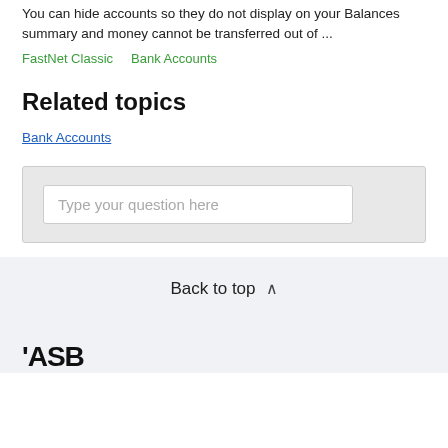You can hide accounts so they do not display on your Balances summary and money cannot be transferred out of ...
FastNet Classic   Bank Accounts
Related topics
Bank Accounts
[Figure (screenshot): Search input box with placeholder text 'Type your question here']
Back to top ∧
[Figure (logo): ASB bank logo in bold black text]